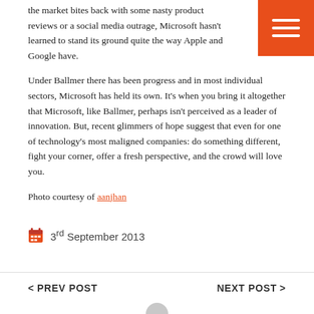the market bites back with some nasty product reviews or a social media outrage, Microsoft hasn't learned to stand its ground quite the way Apple and Google have.
Under Ballmer there has been progress and in most individual sectors, Microsoft has held its own. It's when you bring it altogether that Microsoft, like Ballmer, perhaps isn't perceived as a leader of innovation. But, recent glimmers of hope suggest that even for one of technology's most maligned companies: do something different, fight your corner, offer a fresh perspective, and the crowd will love you.
Photo courtesy of aanjhan
3rd September 2013
< PREV POST
NEXT POST >